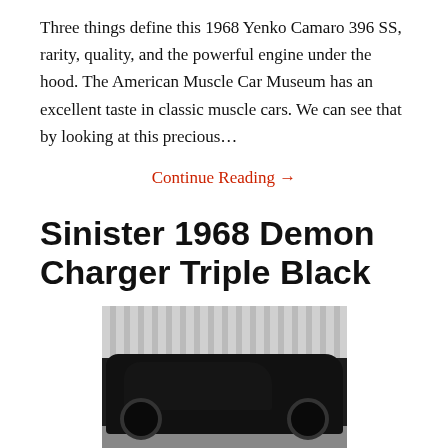Three things define this 1968 Yenko Camaro 396 SS, rarity, quality, and the powerful engine under the hood. The American Muscle Car Museum has an excellent taste in classic muscle cars. We can see that by looking at this precious…
Continue Reading →
Sinister 1968 Demon Charger Triple Black
[Figure (photo): A black 1968 Dodge Charger (customized as 'Demon') parked indoors in front of corrugated metal wall paneling. The car is entirely black — body, wheels, and interior.]